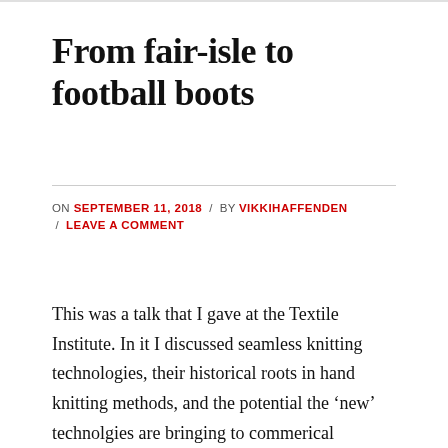From fair-isle to football boots
ON SEPTEMBER 11, 2018 / BY VIKKIHAFFENDEN / LEAVE A COMMENT
This was a talk that I gave at the Textile Institute. In it I discussed seamless knitting technologies, their historical roots in hand knitting methods, and the potential the ‘new’ technolgies are bringing to commerical knitwear and knitted outputs. The audience had the opportunity to challenge and open up a debate after